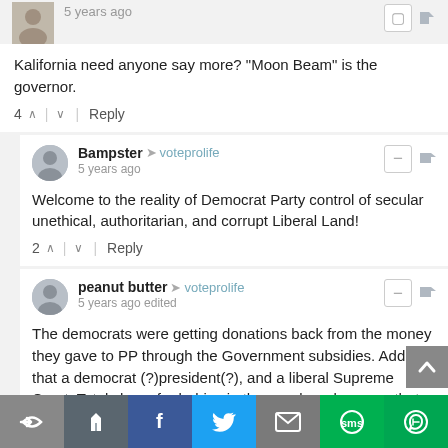5 years ago
Kalifornia need anyone say more? "Moon Beam" is the governor.
4 | Reply
Bampster → voteprolife
5 years ago
Welcome to the reality of Democrat Party control of secular unethical, authoritarian, and corrupt Liberal Land!
2 | Reply
peanut butter → voteprolife
5 years ago edited
The democrats were getting donations back from the money they gave to PP through the Government subsidies. Add to that a democrat (?)president(?), and a liberal Supreme Court. Total chaos for babies in the womb and anyone that defended them.
2 | Reply